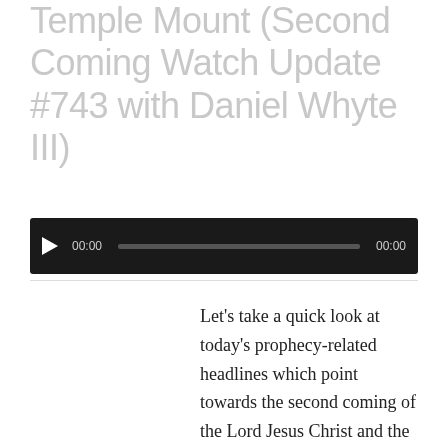Temple Mount (Second Coming Watch Update #743 with Daniel Whyte III)
[Figure (other): Audio player with play button, time display showing 00:00, progress bar, and end time 00:00 on dark background]
Let’s take a quick look at today’s prophecy-related headlines which point towards the second coming of the Lord Jesus Christ and the end of the world...